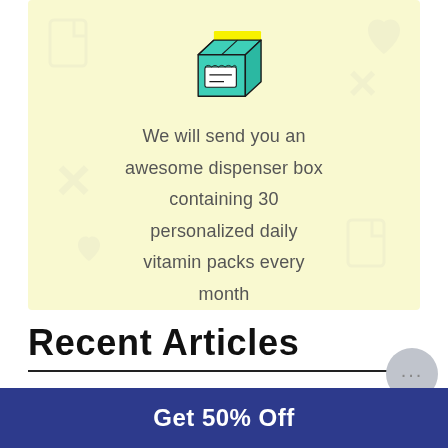[Figure (illustration): Illustration of a teal/mint colored dispenser box on a light yellow background with faint watermark icons (heart, X, document shapes)]
We will send you an awesome dispenser box containing 30 personalized daily vitamin packs every month
Recent Articles
[Figure (photo): Photo thumbnail of a smiling woman with red/auburn hair]
[Figure (photo): Photo thumbnail of fresh green herbs on a light background]
Get 50% Off